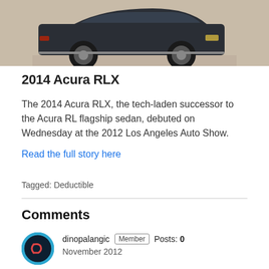[Figure (photo): Partial view of a dark-colored Acura RLX sedan photographed from the side, shown against a beige/tan background.]
2014 Acura RLX
The 2014 Acura RLX, the tech-laden successor to the Acura RL flagship sedan, debuted on Wednesday at the 2012 Los Angeles Auto Show.
Read the full story here
Tagged: Deductible
Comments
dinopalangic  Member  Posts: 0  November 2012